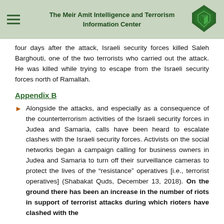The Meir Amit Intelligence and Terrorism Information Center
four days after the attack, Israeli security forces killed Saleh Barghouti, one of the two terrorists who carried out the attack. He was killed while trying to escape from the Israeli security forces north of Ramallah.
Appendix B
Alongside the attacks, and especially as a consequence of the counterterrorism activities of the Israeli security forces in Judea and Samaria, calls have been heard to escalate clashes with the Israeli security forces. Activists on the social networks began a campaign calling for business owners in Judea and Samaria to turn off their surveillance cameras to protect the lives of the “resistance” operatives [i.e., terrorist operatives] (Shabakat Quds, December 13, 2018). On the ground there has been an increase in the number of riots in support of terrorist attacks during which rioters have clashed with the